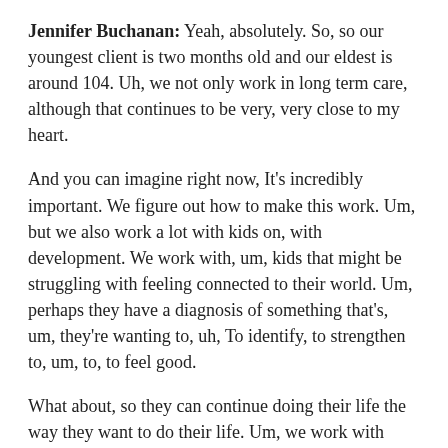Jennifer Buchanan: Yeah, absolutely. So, so our youngest client is two months old and our eldest is around 104. Uh, we not only work in long term care, although that continues to be very, very close to my heart.
And you can imagine right now, It's incredibly important. We figure out how to make this work. Um, but we also work a lot with kids on, with development. We work with, um, kids that might be struggling with feeling connected to their world. Um, perhaps they have a diagnosis of something that's, um, they're wanting to, uh, To identify, to strengthen to, um, to, to feel good.
What about, so they can continue doing their life the way they want to do their life. Um, we work with youth, we work with those who are incarcerated. We work in end of life care and palliative care. Um, so of course, a lot of in the realm of mental health right now. So there is, um, I would say that